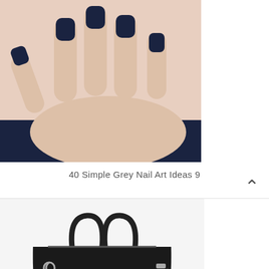[Figure (photo): A hand with dark navy/grey painted nails against a light background]
40 Simple Grey Nail Art Ideas 9
[Figure (photo): A black Kate Spade structured handbag with a Minnie Mouse charm keychain]
30 Minnie Mouse Handbag ideas 29
[Figure (photo): A woman with brown highlighted hair, partial view]